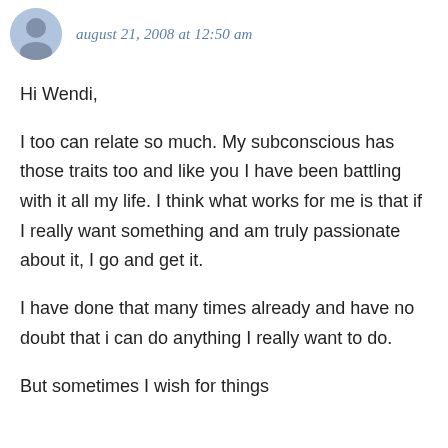[Figure (illustration): Small circular avatar photo of a person]
august 21, 2008 at 12:50 am
Hi Wendi,
I too can relate so much. My subconscious has those traits too and like you I have been battling with it all my life. I think what works for me is that if I really want something and am truly passionate about it, I go and get it.
I have done that many times already and have no doubt that i can do anything I really want to do.
But sometimes I wish for things